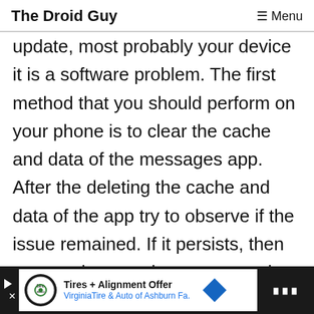The Droid Guy  ≡ Menu
update, most probably your device it is a software problem. The first method that you should perform on your phone is to clear the cache and data of the messages app. After the deleting the cache and data of the app try to observe if the issue remained. If it persists, then you can jump to the next procedure by wiping the cache partition of the device.
[Figure (other): Advertisement banner: Tires + Alignment Offer - VirginiaTire & Auto of Ashburn Fa.]